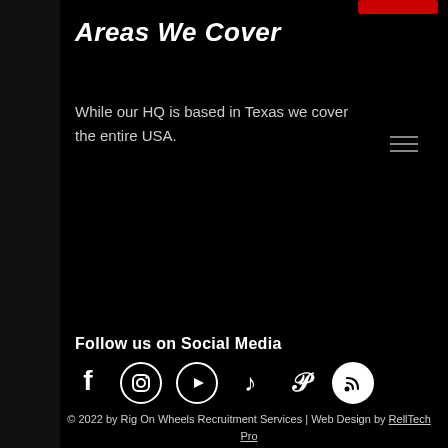Areas We Cover
While our HQ is based in Texas we cover the entire USA.
Follow us on Social Media
© 2022 by Rig On Wheels Recruitment Services | Web Design by RellTech Pro